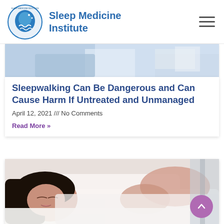Sleep Medicine Institute
[Figure (photo): Partial view of a person in medical/clinical setting, cropped at top]
Sleepwalking Can Be Dangerous and Can Cause Harm If Untreated and Unmanaged
April 12, 2021 /// No Comments
Read More »
[Figure (photo): Young woman sleeping peacefully in bed with white sheets and pillow]